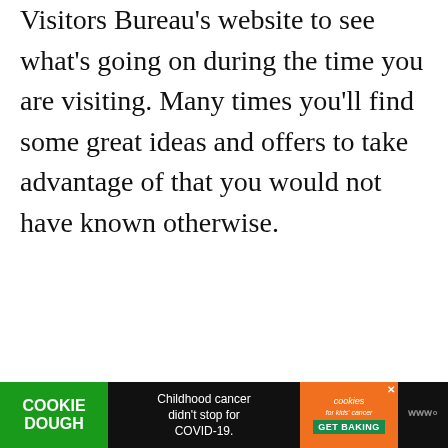Visitors Bureau's website to see what's going on during the time you are visiting. Many times you'll find some great ideas and offers to take advantage of that you would not have known otherwise.
Recommended
[Figure (screenshot): Gift Guide For Kids book/article thumbnail image with red background and grid of toy images]
Holiday Gift Guide 2016: Gifts For Kids
WHAT'S NEXT → 12 Fun Halloween...
Read More →
[Figure (infographic): Advertisement banner: Cookie Dough / Childhood cancer didn't stop for COVID-19. / cookies for kids' cancer GET BAKING]